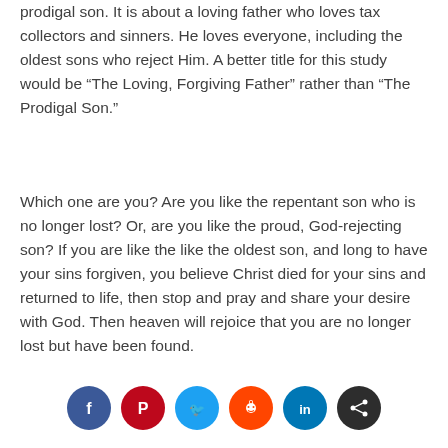prodigal son. It is about a loving father who loves tax collectors and sinners. He loves everyone, including the oldest sons who reject Him. A better title for this study would be “The Loving, Forgiving Father” rather than “The Prodigal Son.”
Which one are you? Are you like the repentant son who is no longer lost? Or, are you like the proud, God-rejecting son? If you are like the like the oldest son, and long to have your sins forgiven, you believe Christ died for your sins and returned to life, then stop and pray and share your desire with God. Then heaven will rejoice that you are no longer lost but have been found.
[Figure (infographic): Social sharing icons row: Facebook (dark blue), Pinterest (dark red), Twitter (light blue), Reddit (orange-red), LinkedIn (blue), Share (dark grey)]